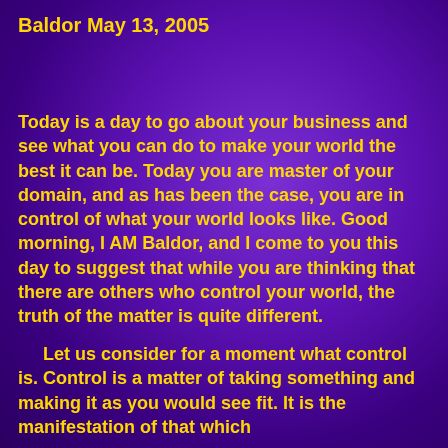Baldor May 13, 2005
Today is a day to go about your business and see what you can do to make your world the best it can be. Today you are master of your domain, and as has been the case, you are in control of what your world looks like. Good morning, I AM Baldor, and I come to you this day to suggest that while you are thinking that there are others who control your world, the truth of the matter is quite different.
Let us consider for a moment what control is. Control is a matter of taking something and making it as you would see fit. It is the manifestation of that which